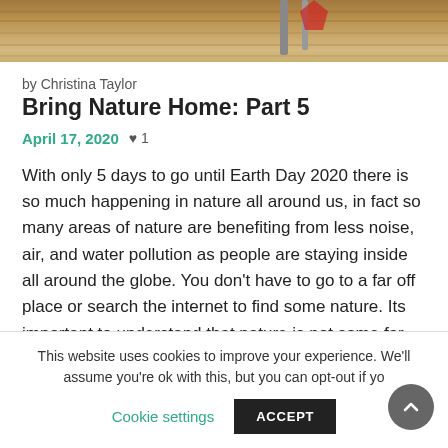[Figure (photo): Partial photo showing a wooden surface with some objects, cropped at top of page.]
by Christina Taylor
Bring Nature Home: Part 5
April 17, 2020  ♥ 1
With only 5 days to go until Earth Day 2020 there is so much happening in nature all around us, in fact so many areas of nature are benefiting from less noise, air, and water pollution as people are staying inside all around the globe. You don't have to go to a far off place or search the internet to find some nature. Its important to understand that nature is not some far away thing- it's every living thing around us. Cities have nature, lots of it, if you can
This website uses cookies to improve your experience. We'll assume you're ok with this, but you can opt-out if yo
Cookie settings
ACCEPT